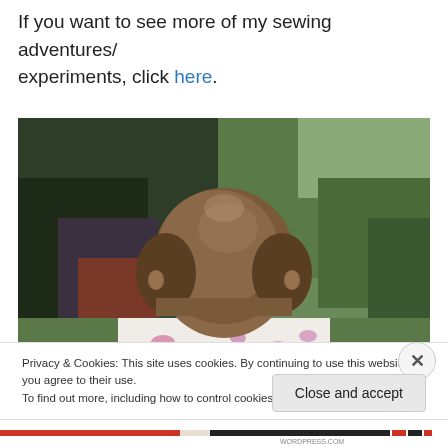If you want to see more of my sewing adventures/experiments, click here.
[Figure (photo): Back view of a person with a short brown bob haircut, wearing a floral top, standing in front of green trees and dark branches outdoors.]
Privacy & Cookies: This site uses cookies. By continuing to use this website, you agree to their use.
To find out more, including how to control cookies, see here: Cookie Policy
Close and accept